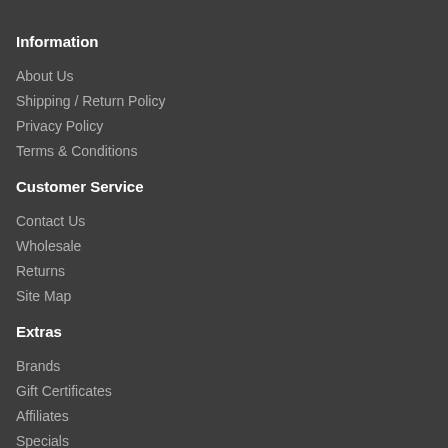Information
About Us
Shipping / Return Policy
Privacy Policy
Terms & Conditions
Customer Service
Contact Us
Wholesale
Returns
Site Map
Extras
Brands
Gift Certificates
Affiliates
Specials
My Account
My Account
Order History
Wishlist